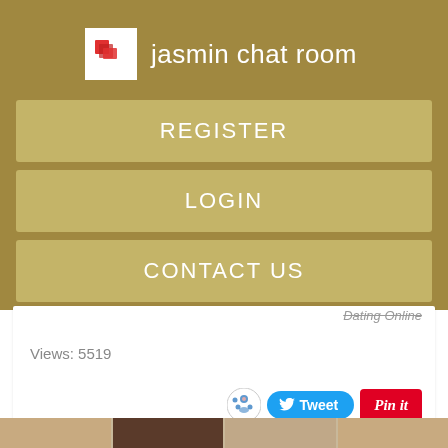jasmin chat room
REGISTER
LOGIN
CONTACT US
Dating Online
Views: 5519
[Figure (screenshot): Social share buttons: Reddit icon, Tweet button (Twitter/blue), Pin it button (Pinterest/red), and a comment/list icon below]